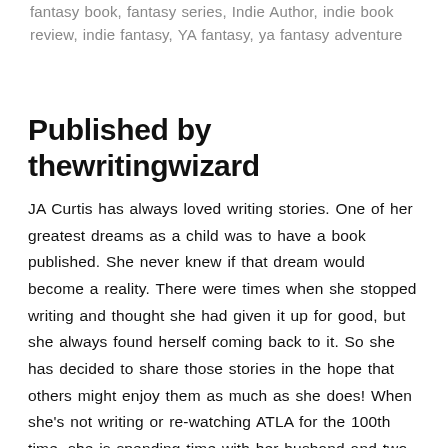fantasy book, fantasy series, Indie Author, indie book review, indie fantasy, YA fantasy, ya fantasy adventure
Published by thewritingwizard
JA Curtis has always loved writing stories. One of her greatest dreams as a child was to have a book published. She never knew if that dream would become a reality. There were times when she stopped writing and thought she had given it up for good, but she always found herself coming back to it. So she has decided to share those stories in the hope that others might enjoy them as much as she does! When she's not writing or re-watching ATLA for the 100th time, she is spending time with her husband and two daughters, or trying to live her life with half as much determination as Mina View